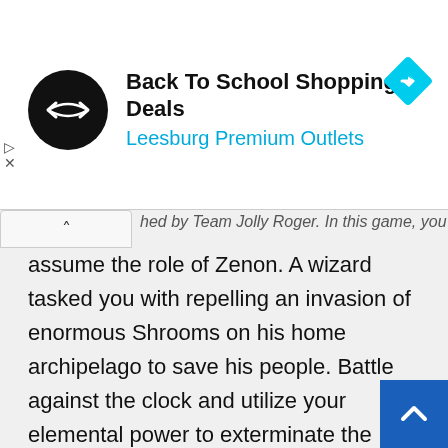[Figure (screenshot): Advertisement banner with black circle logo containing double arrow icon, title 'Back To School Shopping Deals', subtitle 'Leesburg Premium Outlets' in cyan, and a blue diamond navigation icon on the right. Small play and close (X) icons on the left edge.]
hed by Team Jolly Roger. In this game, you will assume the role of Zenon. A wizard tasked you with repelling an invasion of enormous Shrooms on his home archipelago to save his people. Battle against the clock and utilize your elemental power to exterminate the invading forces before it's too late to save the world.
Survive the attack and engage in combat with over 15 different varieties of deadly Shrooms. Completing activities will allow you to collect spores and recei… prizes. Your hard-earned achievements get you to